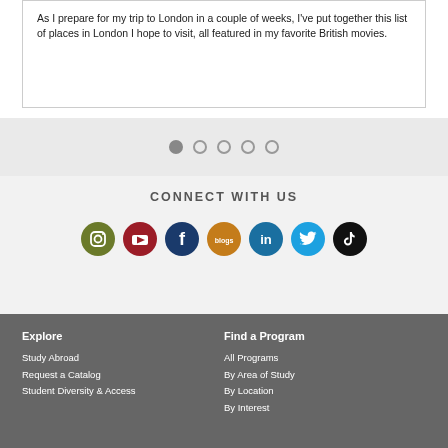As I prepare for my trip to London in a couple of weeks, I've put together this list of places in London I hope to visit, all featured in my favorite British movies.
[Figure (other): Pagination dots: 5 dots, first filled/active, rest empty circles]
CONNECT WITH US
[Figure (other): Social media icons row: Instagram (olive green), YouTube (red), Facebook (dark blue), Blogs (orange), LinkedIn (blue), Twitter (light blue), TikTok (black)]
Explore
Study Abroad
Request a Catalog
Student Diversity & Access
Find a Program
All Programs
By Area of Study
By Location
By Interest